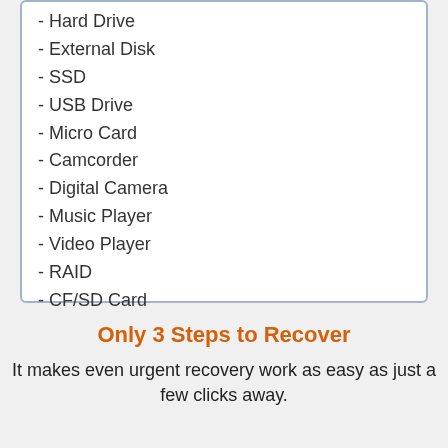- Hard Drive
- External Disk
- SSD
- USB Drive
- Micro Card
- Camcorder
- Digital Camera
- Music Player
- Video Player
- RAID
- CF/SD Card
- Pen Drive
- Other Storage Devices
Only 3 Steps to Recover
It makes even urgent recovery work as easy as just a few clicks away.